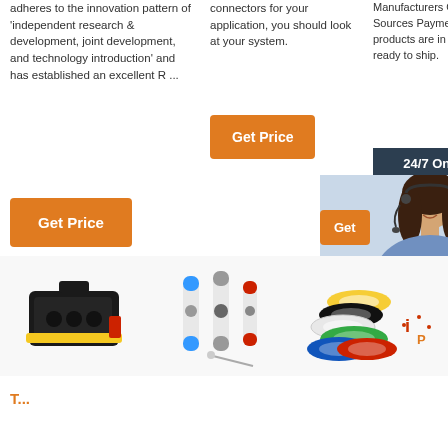adheres to the innovation pattern of 'independent research & development, joint development, and technology introduction' and has established an excellent R ...
connectors for your application, you should look at your system.
Manufacturers Global Sources Payments These products are in stock and ready to ship.
24/7 Online
[Figure (photo): Customer service representative woman with headset smiling]
Click here for free chat !
QUOTATION
[Figure (photo): Black automotive electrical connector with yellow seal]
[Figure (photo): Solder seal wire connectors in various sizes with a pin]
[Figure (photo): Colorful adhesive tape rolls stacked with logo overlay]
Get Price
Get Price
Get